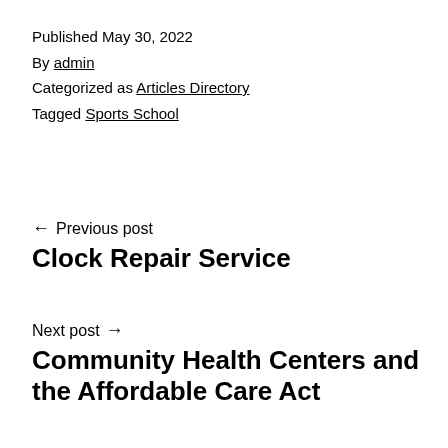Published May 30, 2022
By admin
Categorized as Articles Directory
Tagged Sports School
← Previous post
Clock Repair Service
Next post →
Community Health Centers and the Affordable Care Act